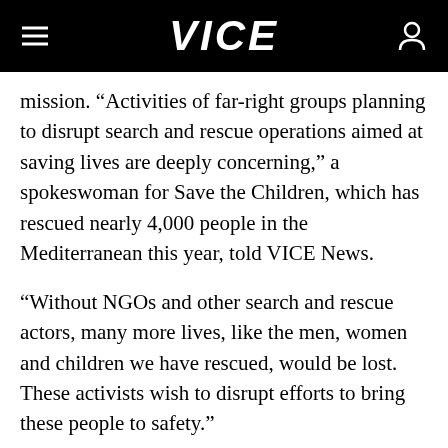VICE
mission. “Activities of far-right groups planning to disrupt search and rescue operations aimed at saving lives are deeply concerning,” a spokeswoman for Save the Children, which has rescued nearly 4,000 people in the Mediterranean this year, told VICE News.
“Without NGOs and other search and rescue actors, many more lives, like the men, women and children we have rescued, would be lost. These activists wish to disrupt efforts to bring these people to safety.”
She said her organization was “out of